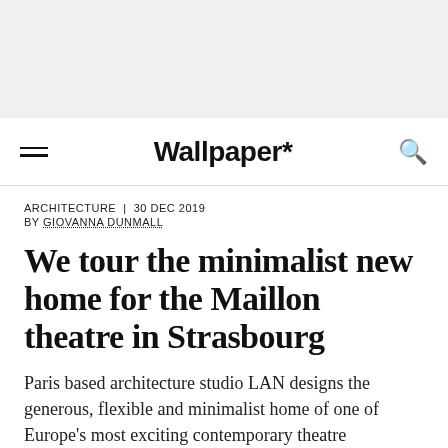[Figure (other): Gray header background area at top of page]
Wallpaper*
ARCHITECTURE | 30 DEC 2019
BY GIOVANNA DUNMALL
We tour the minimalist new home for the Maillon theatre in Strasbourg
Paris based architecture studio LAN designs the generous, flexible and minimalist home of one of Europe's most exciting contemporary theatre companies